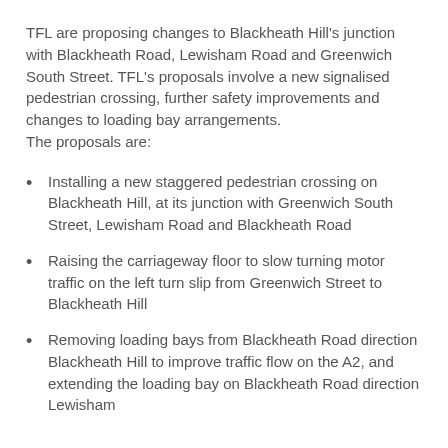TFL are proposing changes to Blackheath Hill's junction with Blackheath Road, Lewisham Road and Greenwich South Street. TFL's proposals involve a new signalised pedestrian crossing, further safety improvements and changes to loading bay arrangements.
The proposals are:
Installing a new staggered pedestrian crossing on Blackheath Hill, at its junction with Greenwich South Street, Lewisham Road and Blackheath Road
Raising the carriageway floor to slow turning motor traffic on the left turn slip from Greenwich Street to Blackheath Hill
Removing loading bays from Blackheath Road direction Blackheath Hill to improve traffic flow on the A2, and extending the loading bay on Blackheath Road direction Lewisham